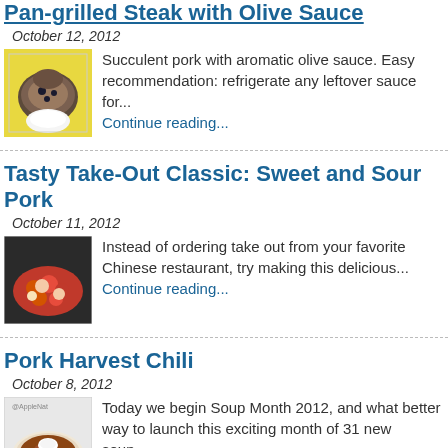Pan-grilled Steak with Olive Sauce
October 12, 2012
[Figure (photo): Photo of pan-grilled steak with olive sauce on yellow background]
Succulent pork with aromatic olive sauce. Easy recommendation: refrigerate any leftover sauce for... Continue reading...
Tasty Take-Out Classic: Sweet and Sour Pork
October 11, 2012
[Figure (photo): Photo of sweet and sour pork with vegetables]
Instead of ordering take out from your favorite Chinese restaurant, try making this delicious... Continue reading...
Pork Harvest Chili
October 8, 2012
[Figure (photo): Photo of pork harvest chili in a bowl with cream topping]
Today we begin Soup Month 2012, and what better way to launch this exciting month of 31 new soup,... Continue reading...